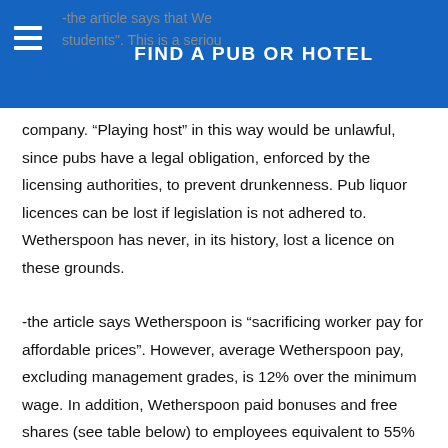FIND A PUB OR HOTEL
-the article says that We... students". This is a seriou...
company. “Playing host” in this way would be unlawful, since pubs have a legal obligation, enforced by the licensing authorities, to prevent drunkenness. Pub liquor licences can be lost if legislation is not adhered to. Wetherspoon has never, in its history, lost a licence on these grounds.
-the article says Wetherspoon is “sacrificing worker pay for affordable prices”. However, average Wetherspoon pay, excluding management grades, is 12% over the minimum wage. In addition, Wetherspoon paid bonuses and free shares (see table below) to employees equivalent to 55%